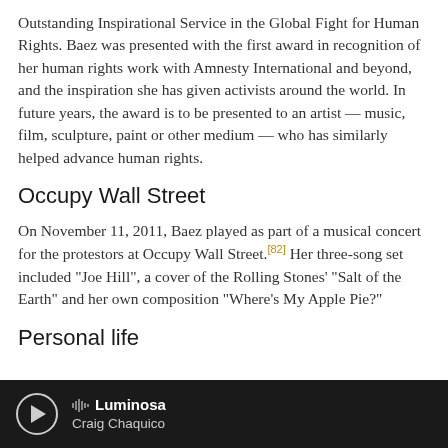Outstanding Inspirational Service in the Global Fight for Human Rights. Baez was presented with the first award in recognition of her human rights work with Amnesty International and beyond, and the inspiration she has given activists around the world. In future years, the award is to be presented to an artist — music, film, sculpture, paint or other medium — who has similarly helped advance human rights.
Occupy Wall Street
On November 11, 2011, Baez played as part of a musical concert for the protestors at Occupy Wall Street.[82] Her three-song set included "Joe Hill", a cover of the Rolling Stones' "Salt of the Earth" and her own composition "Where's My Apple Pie?"
Personal life
Luminosa · Craig Chaquico